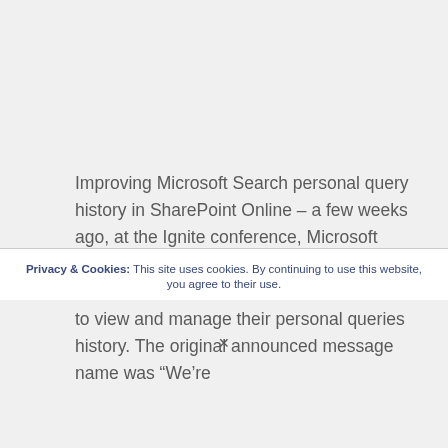Improving Microsoft Search personal query history in SharePoint Online – a few weeks ago, at the Ignite conference, Microsoft announced that they will add a new option in Microsoft Search which will allow users to view and manage their personal queries history. The original announced message name was “We’re
Privacy & Cookies: This site uses cookies. By continuing to use this website, you agree to their use.